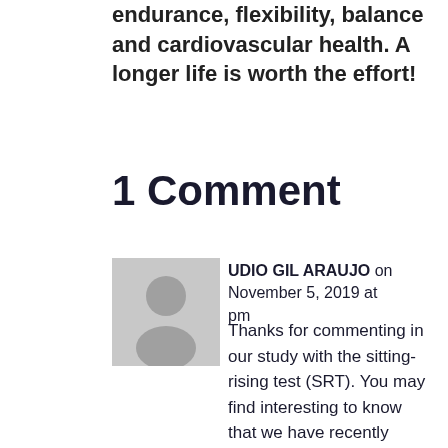endurance, flexibility, balance and cardiovascular health. A longer life is worth the effort!
1 Comment
[Figure (illustration): Gray avatar placeholder image showing a person silhouette]
CLAUDIO GIL ARAUJO on November 5, 2019 at pm
Thanks for commenting in our study with the sitting-rising test (SRT). You may find interesting to know that we have recently published age and sex-reference values for the SRT based in